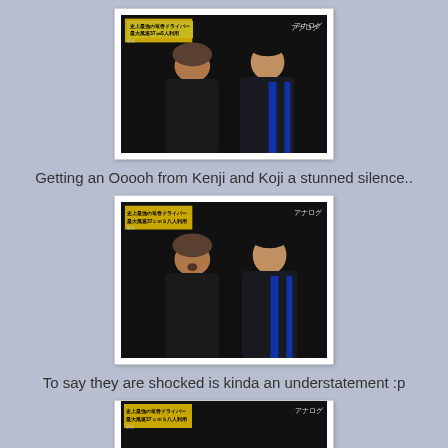[Figure (photo): TV screenshot of two men standing side by side. Left person wearing dark jacket and knit hat. Right person wearing dark jacket with blue stripes. Japanese text overlay in yellow box top-left, アナログ text top-right.]
Getting an Ooooh from Kenji and Koji a stunned silence..
[Figure (photo): Second TV screenshot of same two men, similar framing. Left person appears to be reacting with mouth open. Same Japanese overlay text and アナログ watermark.]
To say they are shocked is kinda an understatement :p
[Figure (photo): Third TV screenshot partially visible at bottom, same scene with two men and Japanese text overlay.]